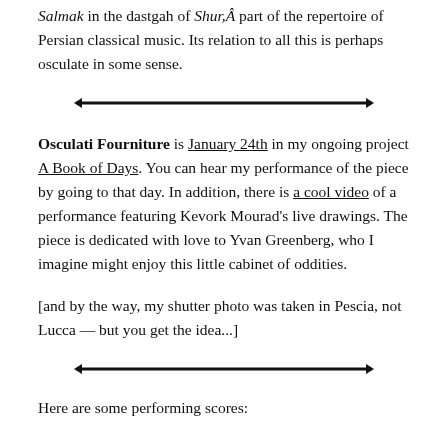Salmak in the dastgah of Shur,Â part of the repertoire of Persian classical music. Its relation to all this is perhaps osculate in some sense.
[Figure (other): Horizontal decorative divider line with arrow ends]
Osculati Fourniture is January 24th in my ongoing project A Book of Days. You can hear my performance of the piece by going to that day. In addition, there is a cool video of a performance featuring Kevork Mourad's live drawings. The piece is dedicated with love to Yvan Greenberg, who I imagine might enjoy this little cabinet of oddities.
[and by the way, my shutter photo was taken in Pescia, not Lucca — but you get the idea...]
[Figure (other): Horizontal decorative divider line with arrow ends]
Here are some performing scores: